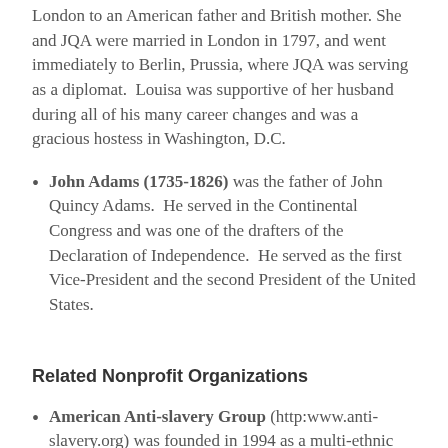London to an American father and British mother. She and JQA were married in London in 1797, and went immediately to Berlin, Prussia, where JQA was serving as a diplomat. Louisa was supportive of her husband during all of his many career changes and was a gracious hostess in Washington, D.C.
John Adams (1735-1826) was the father of John Quincy Adams. He served in the Continental Congress and was one of the drafters of the Declaration of Independence. He served as the first Vice-President and the second President of the United States.
Related Nonprofit Organizations
American Anti-slavery Group (http:www.anti-slavery.org) was founded in 1994 as a multi-ethnic and multi-religious group dedicated to the abolition